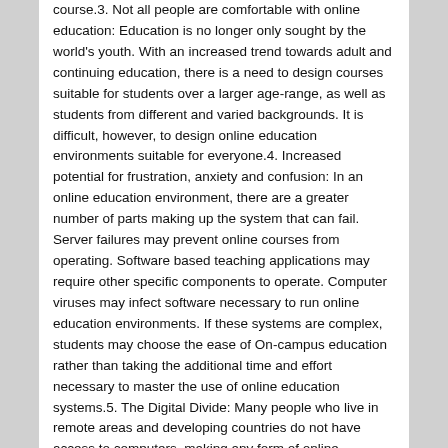course.3. Not all people are comfortable with online education: Education is no longer only sought by the world's youth. With an increased trend towards adult and continuing education, there is a need to design courses suitable for students over a larger age-range, as well as students from different and varied backgrounds. It is difficult, however, to design online education environments suitable for everyone.4. Increased potential for frustration, anxiety and confusion: In an online education environment, there are a greater number of parts making up the system that can fail. Server failures may prevent online courses from operating. Software based teaching applications may require other specific components to operate. Computer viruses may infect software necessary to run online education environments. If these systems are complex, students may choose the ease of On-campus education rather than taking the additional time and effort necessary to master the use of online education systems.5. The Digital Divide: Many people who live in remote areas and developing countries do not have access to computers, making any form of online education virtually impossible. For this reason, online education is